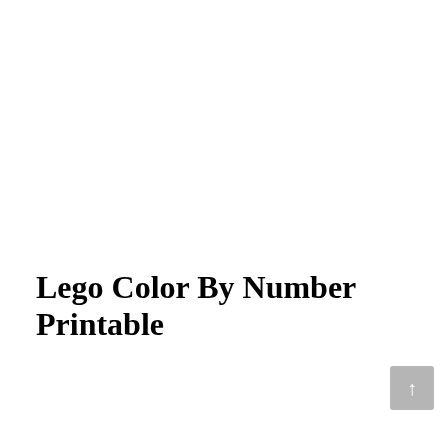Lego Color By Number Printable